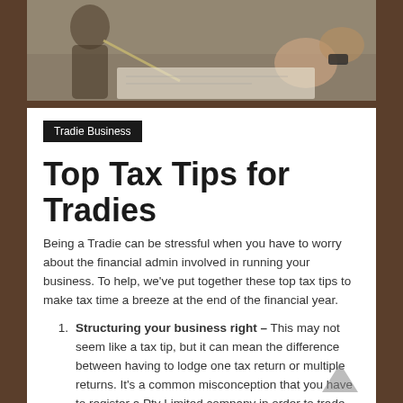[Figure (photo): Photo of tradespeople working outdoors, reviewing plans and documents]
Tradie Business
Top Tax Tips for Tradies
Being a Tradie can be stressful when you have to worry about the financial admin involved in running your business. To help, we've put together these top tax tips to make tax time a breeze at the end of the financial year.
Structuring your business right – This may not seem like a tax tip, but it can mean the difference between having to lodge one tax return or multiple returns. It's a common misconception that you have to register a Pty Limited company in order to trade. In fact, there is very little advantage of registering a company when you're trading as an